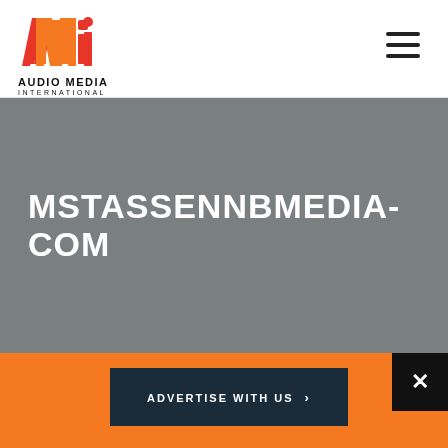[Figure (logo): Audio Media International logo with stylized AMi lettering in red/orange and black, hamburger menu icon top right]
MSTASSENNBMEDIA-COM
ADVERTISE WITH US >
[Figure (other): Close button with X symbol on black background]